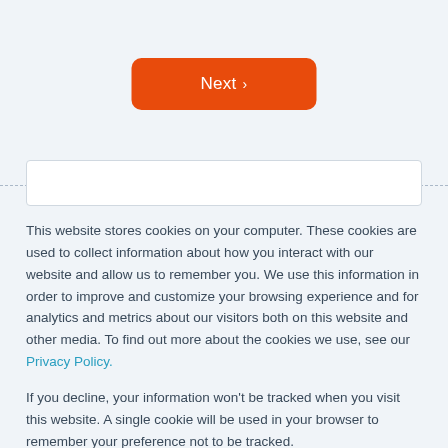[Figure (screenshot): Orange Next button with right chevron arrow on light blue-grey background, with a dashed border line above and a white input bar below]
This website stores cookies on your computer. These cookies are used to collect information about how you interact with our website and allow us to remember you. We use this information in order to improve and customize your browsing experience and for analytics and metrics about our visitors both on this website and other media. To find out more about the cookies we use, see our Privacy Policy.
If you decline, your information won't be tracked when you visit this website. A single cookie will be used in your browser to remember your preference not to be tracked.
[Figure (screenshot): Two buttons: orange filled Accept button and orange outlined Decline button]